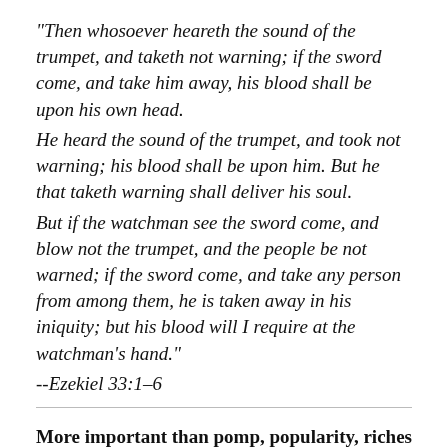"Then whosoever heareth the sound of the trumpet, and taketh not warning; if the sword come, and take him away, his blood shall be upon his own head. He heard the sound of the trumpet, and took not warning; his blood shall be upon him. But he that taketh warning shall deliver his soul. But if the watchman see the sword come, and blow not the trumpet, and the people be not warned; if the sword come, and take any person from among them, he is taken away in his iniquity; but his blood will I require at the watchman's hand." --Ezekiel 33:1-6
More important than pomp, popularity, riches or recognition: we will be guilty of no man's